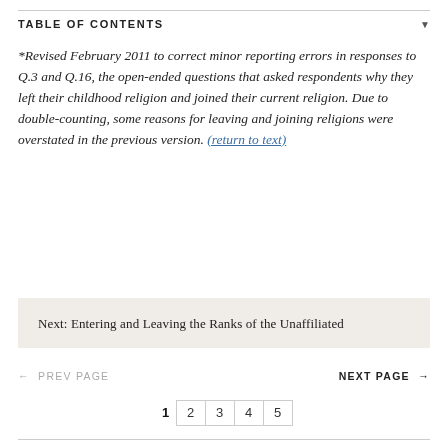TABLE OF CONTENTS
*Revised February 2011 to correct minor reporting errors in responses to Q.3 and Q.16, the open-ended questions that asked respondents why they left their childhood religion and joined their current religion. Due to double-counting, some reasons for leaving and joining religions were overstated in the previous version. (return to text)
Next: Entering and Leaving the Ranks of the Unaffiliated
← PREV PAGE   NEXT PAGE →   1 2 3 4 5